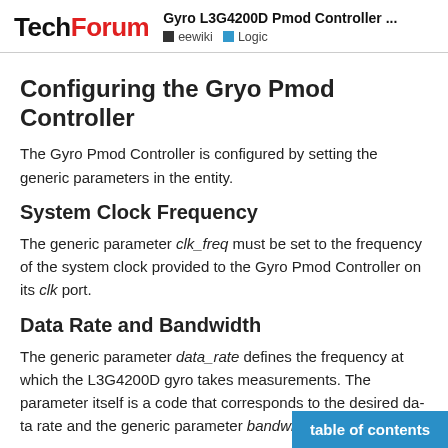TechForum — Gyro L3G4200D Pmod Controller ... eewiki Logic
Configuring the Gryo Pmod Controller
The Gyro Pmod Controller is configured by setting the generic parameters in the entity.
System Clock Frequency
The generic parameter clk_freq must be set to the frequency of the system clock provided to the Gyro Pmod Controller on its clk port.
Data Rate and Bandwidth
The generic parameter data_rate defines the frequency at which the L3G4200D gyro takes measurements. The parameter itself is a code that corresponds to the desired da... the generic parameter bandwidth is a code